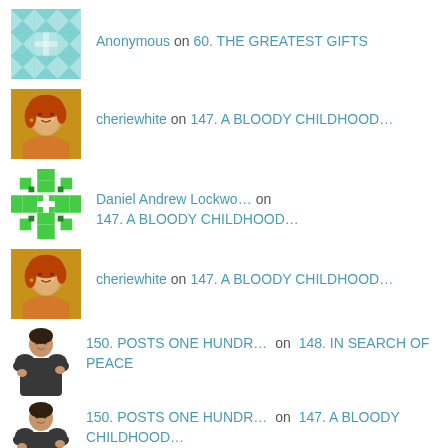Anonymous on 60. THE GREATEST GIFTS
cheriewhite on 147. A BLOODY CHILDHOOD…
Daniel Andrew Lockwo… on 147. A BLOODY CHILDHOOD…
cheriewhite on 147. A BLOODY CHILDHOOD…
150. POSTS ONE HUNDR… on 148. IN SEARCH OF PEACE
150. POSTS ONE HUNDR… on 147. A BLOODY CHILDHOOD…
150. POSTS ONE HUNDR… on 145. THE BRAVEST WORDS
150. POSTS ONE HUNDR… on 144. PATIENCE